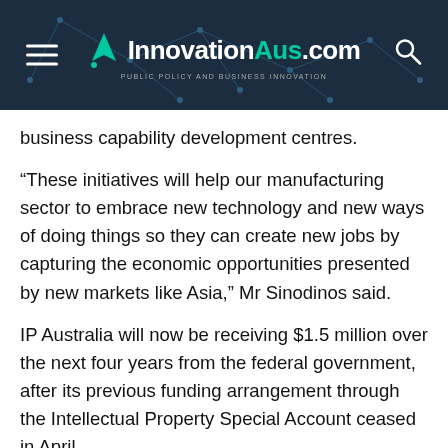InnovationAus.com — PUBLIC POLICY AND BUSINESS INNOVATION
business capability development centres.
“These initiatives will help our manufacturing sector to embrace new technology and new ways of doing things so they can create new jobs by capturing the economic opportunities presented by new markets like Asia,” Mr Sinodinos said.
IP Australia will now be receiving $1.5 million over the next four years from the federal government, after its previous funding arrangement through the Intellectual Property Special Account ceased in April.
The CSIRO’s Energy Use Data Model, which uses data-driven analysis and modelling to in…